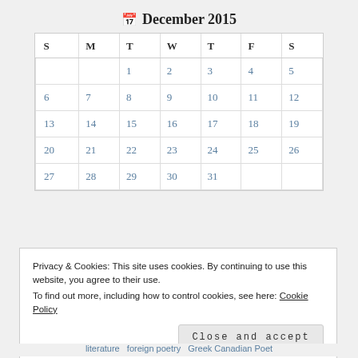December 2015
| S | M | T | W | T | F | S |
| --- | --- | --- | --- | --- | --- | --- |
|  |  | 1 | 2 | 3 | 4 | 5 |
| 6 | 7 | 8 | 9 | 10 | 11 | 12 |
| 13 | 14 | 15 | 16 | 17 | 18 | 19 |
| 20 | 21 | 22 | 23 | 24 | 25 | 26 |
| 27 | 28 | 29 | 30 | 31 |  |  |
Privacy & Cookies: This site uses cookies. By continuing to use this website, you agree to their use.
To find out more, including how to control cookies, see here: Cookie Policy
Close and accept
literature  foreign poetry  Greek Canadian Poet